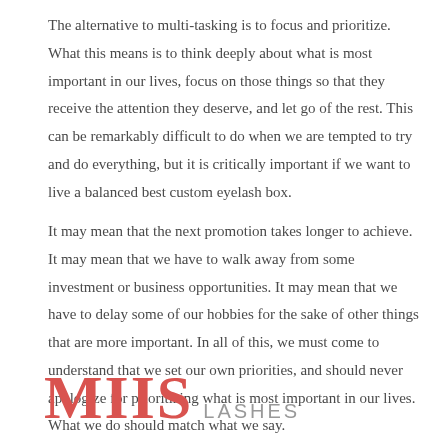The alternative to multi-tasking is to focus and prioritize. What this means is to think deeply about what is most important in our lives, focus on those things so that they receive the attention they deserve, and let go of the rest. This can be remarkably difficult to do when we are tempted to try and do everything, but it is critically important if we want to live a balanced best custom eyelash box.
It may mean that the next promotion takes longer to achieve. It may mean that we have to walk away from some investment or business opportunities. It may mean that we have to delay some of our hobbies for the sake of other things that are more important. In all of this, we must come to understand that we set our own priorities, and should never apologize for prioritizing what is most important in our lives. What we do should match what we say.
[Figure (logo): MIIS LASHES logo — MIIS in large bold red serif font, LASHES in smaller grey sans-serif capitals]